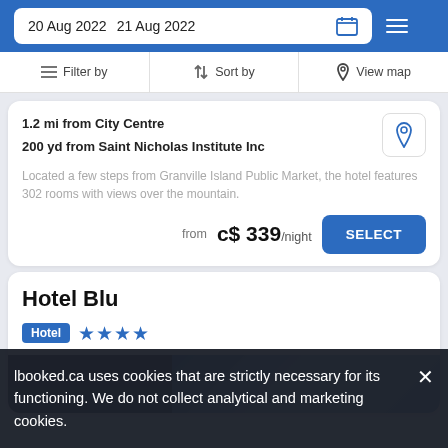20 Aug 2022   21 Aug 2022
Filter by   Sort by   View map
1.2 mi from City Centre
200 yd from Saint Nicholas Institute Inc
Located a few steps from Granville Island Public Market, the hotel features 302 rooms with views over the mountain.
from  c$ 339/night
Hotel Blu
Hotel  ★★★★
lbooked.ca uses cookies that are strictly necessary for its functioning. We do not collect analytical and marketing cookies.